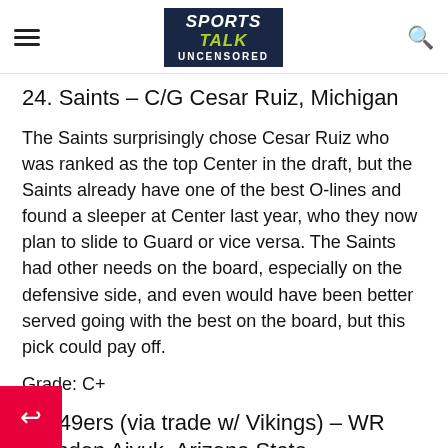Sports Talk Uncensored
24. Saints – C/G Cesar Ruiz, Michigan
The Saints surprisingly chose Cesar Ruiz who was ranked as the top Center in the draft, but the Saints already have one of the best O-lines and found a sleeper at Center last year, who they now plan to slide to Guard or vice versa. The Saints had other needs on the board, especially on the defensive side, and even would have been better served going with the best on the board, but this pick could pay off.
Grade: C+
25. 49ers (via trade w/ Vikings) – WR Brandon Aiyuk, Arizona State
the 49ers moved up in the 1st round to select